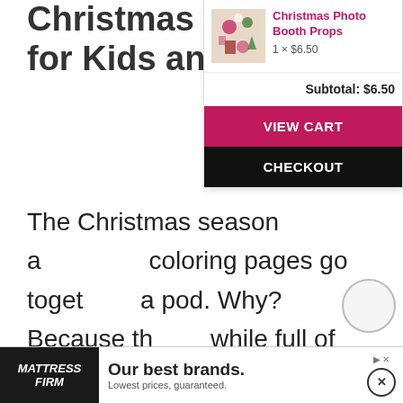Christmas Col… for Kids an…
[Figure (screenshot): Shopping cart popup overlay showing Christmas Photo Booth Props item at 1 × $6.50, subtotal $6.50, with VIEW CART and CHECKOUT buttons]
The Christmas season a… coloring pages go togeth… a pod. Why? Because th… while full of happy holid… and busy. An easy way to unwind is by sitting down with a free coloring sheet. Of course, it's much simpler when it comes to why kids should love coloring during this sp…
[Figure (infographic): Advertisement banner for Mattress Firm: 'Our best brands. Lowest prices, guaranteed.' with close button]